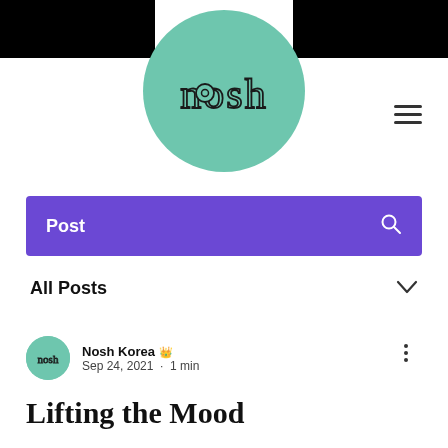[Figure (logo): Nosh logo — teal/mint green circle with the word 'nosh' in thin outline lettering in the center]
Post
All Posts
Nosh Korea 👑
Sep 24, 2021 · 1 min
Lifting the Mood